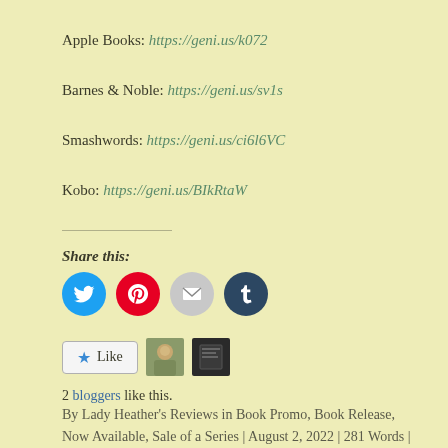Apple Books: https://geni.us/k072
Barnes & Noble: https://geni.us/sv1s
Smashwords: https://geni.us/ci6l6VC
Kobo: https://geni.us/BIkRtaW
Share this:
[Figure (infographic): Social share buttons: Twitter (blue), Pinterest (red), Email (grey), Tumblr (dark navy)]
[Figure (infographic): Like button with star icon and two blogger avatar thumbnails]
2 bloggers like this.
By Lady Heather's Reviews in Book Promo, Book Release, Now Available, Sale of a Series | August 2, 2022 | 281 Words | Leave a comment